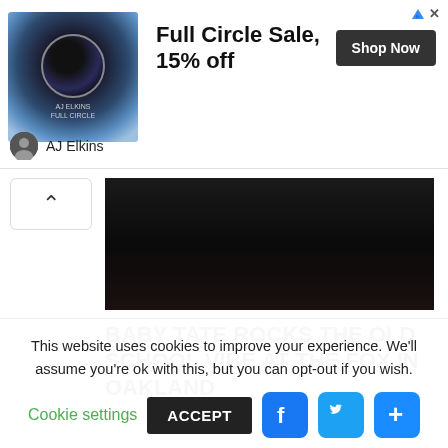[Figure (screenshot): Advertisement banner: AJ Elkins Full Circle Sale 15% off with Shop Now button and album artwork]
AJ Elkins
[Figure (photo): Dark concert photo]
BABY TATE ROCKS THE OLD SCHOOL VIBE AT THE FOX IN OAKLAND
[Figure (photo): Partially visible photo of a person in a gray-bordered frame]
This website uses cookies to improve your experience. We'll assume you're ok with this, but you can opt-out if you wish.
Cookie settings   ACCEPT